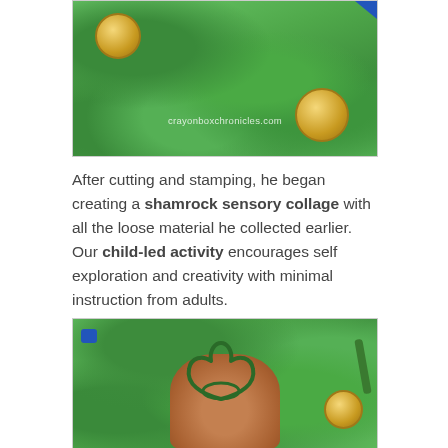[Figure (photo): Close-up photo of green kinetic sand with gold coins and a small blue element in corner, with watermark crayonboxchronicles.com]
After cutting and stamping, he began creating a shamrock sensory collage with all the loose material he collected earlier. Our child-led activity encourages self exploration and creativity with minimal instruction from adults.
[Figure (photo): Child's hand holding a shamrock-shaped cookie cutter filled with green kinetic sand, with gold coin and green stick visible in background]